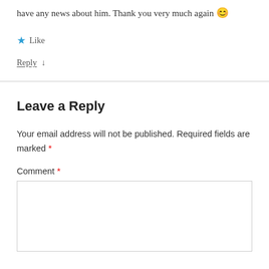have any news about him. Thank you very much again 😊
★ Like
Reply ↓
Leave a Reply
Your email address will not be published. Required fields are marked *
Comment *